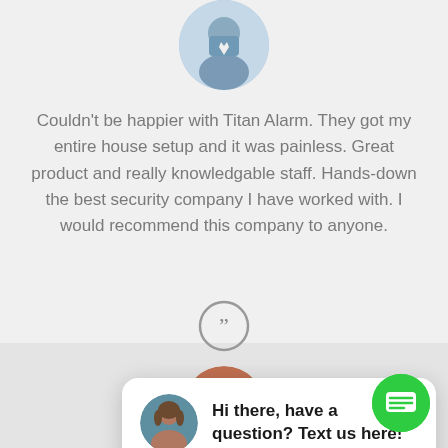[Figure (photo): Circular profile photo of a man in a blue shirt and tie, cropped at top]
Couldn't be happier with Titan Alarm. They got my entire house setup and it was painless. Great product and really knowledgable staff. Hands-down the best security company I have worked with. I would recommend this company to anyone.
close
[Figure (screenshot): Chat widget popup with female avatar and text: Hi there, have a question? Text us here!]
Res
[Figure (illustration): Gray quotation mark icon inside a circle]
[Figure (photo): Circular profile photo of a person at the bottom, partially visible]
[Figure (illustration): Green circular chat button with message icon]